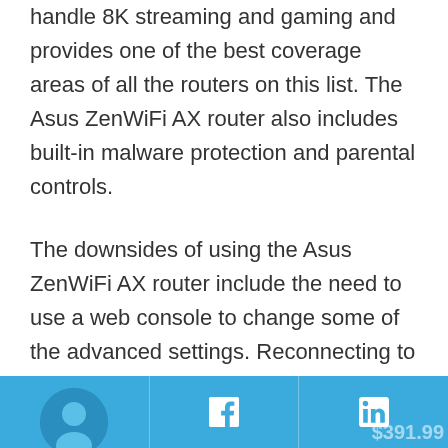handle 8K streaming and gaming and provides one of the best coverage areas of all the routers on this list. The Asus ZenWiFi AX router also includes built-in malware protection and parental controls.
The downsides of using the Asus ZenWiFi AX router include the need to use a web console to change some of the advanced settings. Reconnecting to satellites in the mesh network using this router can take a long time. Also, the router is pricey at $391.99.
[Figure (other): Social media footer bar with Twitter, Facebook, and LinkedIn icons on a blue background, with a circular avatar on the left and '$391.99' price text partially visible on the right.]